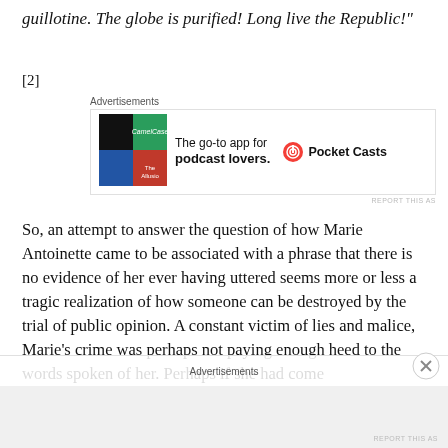guillotine. The globe is purified! Long live the Republic!"
[2]
[Figure (other): Advertisement banner for Pocket Casts app: 'The go-to app for podcast lovers.' with Pocket Casts logo]
So, an attempt to answer the question of how Marie Antoinette came to be associated with a phrase that there is no evidence of her ever having uttered seems more or less a tragic realization of how someone can be destroyed by the trial of public opinion. A constant victim of lies and malice, Marie’s crime was perhaps not paying enough heed to the words spoken of her. Perhaps if she had come
[Figure (other): Bottom advertisement bar labeled 'Advertisements' with close button]